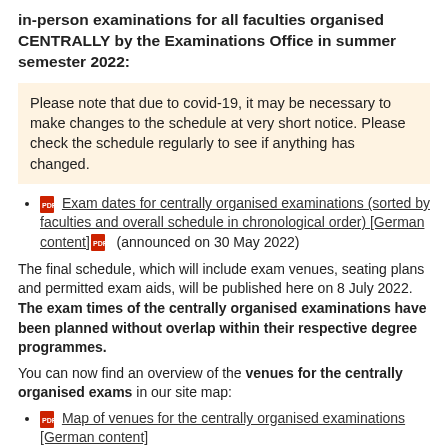in-person examinations for all faculties organised CENTRALLY by the Examinations Office in summer semester 2022:
Please note that due to covid-19, it may be necessary to make changes to the schedule at very short notice. Please check the schedule regularly to see if anything has changed.
Exam dates for centrally organised examinations (sorted by faculties and overall schedule in chronological order) [German content] (announced on 30 May 2022)
The final schedule, which will include exam venues, seating plans and permitted exam aids, will be published here on 8 July 2022. The exam times of the centrally organised examinations have been planned without overlap within their respective degree programmes.
You can now find an overview of the venues for the centrally organised exams in our site map:
Map of venues for the centrally organised examinations [German content]
Non-centrally organised exams: